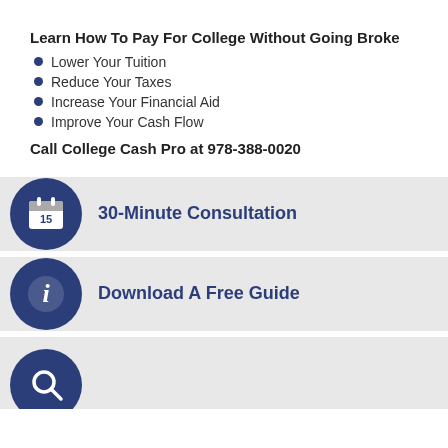Learn How To Pay For College Without Going Broke
Lower Your Tuition
Reduce Your Taxes
Increase Your Financial Aid
Improve Your Cash Flow
Call College Cash Pro at 978-388-0020
30-Minute Consultation
Download A Free Guide
[Figure (infographic): Partially visible circle icon with magnifying glass at bottom]